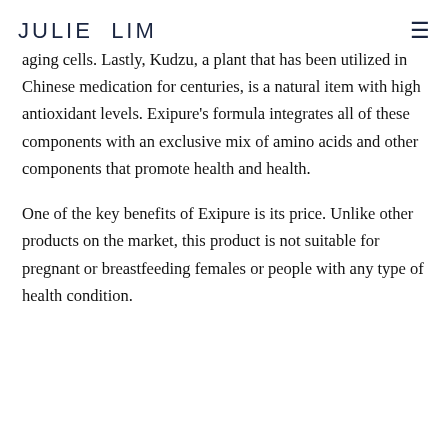JULIE LIM
aging cells. Lastly, Kudzu, a plant that has been utilized in Chinese medication for centuries, is a natural item with high antioxidant levels. Exipure's formula integrates all of these components with an exclusive mix of amino acids and other components that promote health and health.
One of the key benefits of Exipure is its price. Unlike other products on the market, this product is not suitable for pregnant or breastfeeding females or people with any type of health condition.